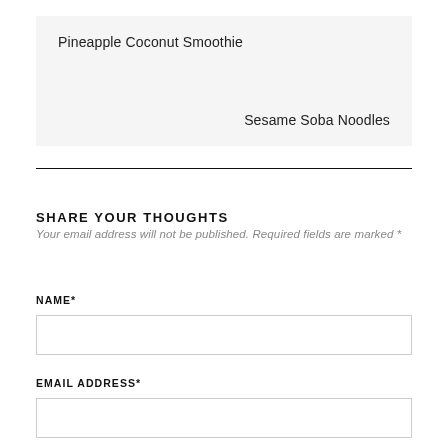Pineapple Coconut Smoothie
Sesame Soba Noodles
SHARE YOUR THOUGHTS
Your email address will not be published. Required fields are marked *
NAME*
EMAIL ADDRESS*